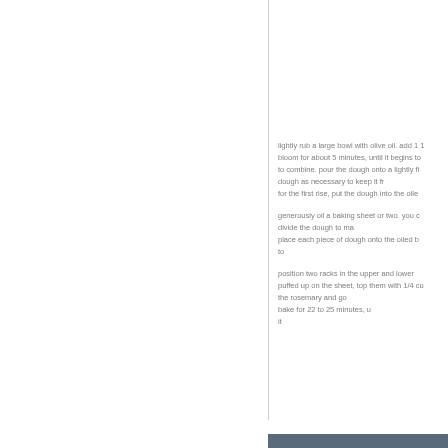lightly rub a large bowl with olive oil. add 1 1 bloom for about 5 minutes, until it begins to to combine. pour the dough onto a lightly fl dough as necessary to keep it fr for the first rise, put the dough into the oile
generously oil a baking sheet or two. you c divide the dough to ma place each piece of dough onto the oiled b to
position two racks in the upper and lower puffed up on the sheet, top them with 1/4 cu the rosemary and go bake for 22 to 25 minutes, u it